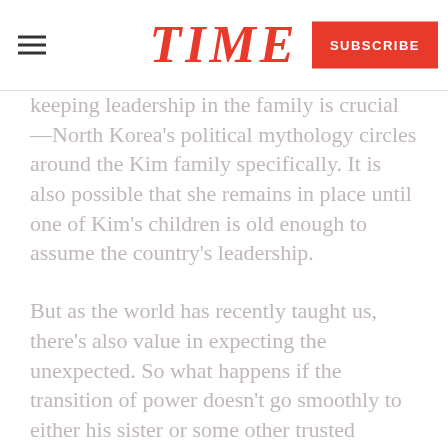TIME
keeping leadership in the family is crucial—North Korea's political mythology circles around the Kim family specifically. It is also possible that she remains in place until one of Kim's children is old enough to assume the country's leadership.
But as the world has recently taught us, there's also value in expecting the unexpected. So what happens if the transition of power doesn't go smoothly to either his sister or some other trusted member of the country's ruling cabal? In that instance, the upheaval in North Korea would mean the international community will have three distinct priorities. The first will be to track. In oto